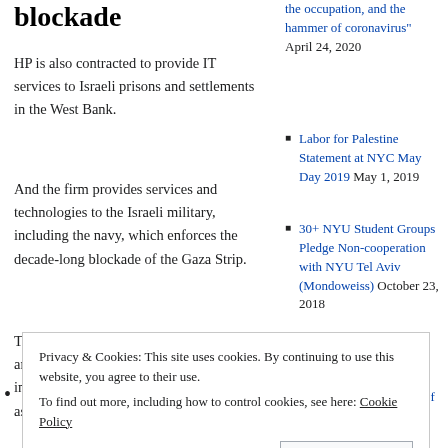blockade
HP is also contracted to provide IT services to Israeli prisons and settlements in the West Bank.
And the firm provides services and technologies to the Israeli military, including the navy, which enforces the decade-long blockade of the Gaza Strip.
The Israeli occupation of the West Bank and Gaza Strip are illegal under international law, as are all Israeli settlements.
the occupation, and the hammer of coronavirus" April 24, 2020
Labor for Palestine Statement at NYC May Day 2019 May 1, 2019
30+ NYU Student Groups Pledge Non-cooperation with NYU Tel Aviv (Mondoweiss) October 23, 2018
Letter to the University of Michigan President
Privacy & Cookies: This site uses cookies. By continuing to use this website, you agree to their use. To find out more, including how to control cookies, see here: Cookie Policy
Close and accept